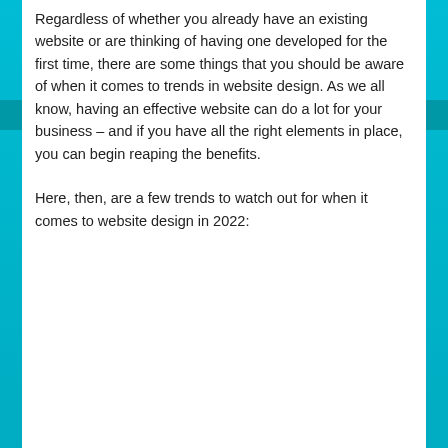Regardless of whether you already have an existing website or are thinking of having one developed for the first time, there are some things that you should be aware of when it comes to trends in website design. As we all know, having an effective website can do a lot for your business – and if you have all the right elements in place, you can begin reaping the benefits.
Here, then, are a few trends to watch out for when it comes to website design in 2022: